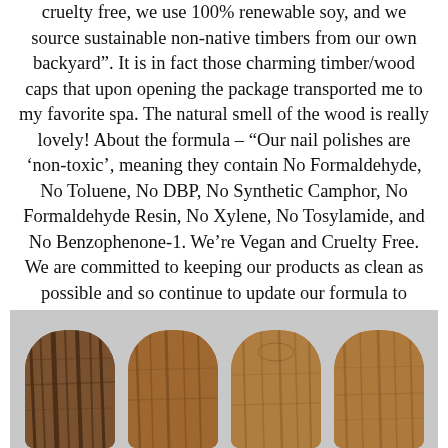cruelty free, we use 100% renewable soy, and we source sustainable non-native timbers from our own backyard". It is in fact those charming timber/wood caps that upon opening the package transported me to my favorite spa. The natural smell of the wood is really lovely! About the formula - "Our nail polishes are 'non-toxic', meaning they contain No Formaldehyde, No Toluene, No DBP, No Synthetic Camphor, No Formaldehyde Resin, No Xylene, No Tosylamide, and No Benzophenone-1. We're Vegan and Cruelty Free. We are committed to keeping our products as clean as possible and so continue to update our formula to reflect this." So far so good, right? So I was able to pick my top 4 shades from their collection (tough to do because I love so many! But not surprisingly I gravitated toward the aquas/blues/mint range!
[Figure (photo): Four wooden nail polish bottle caps with natural wood grain, arranged side by side on a light gray background.]